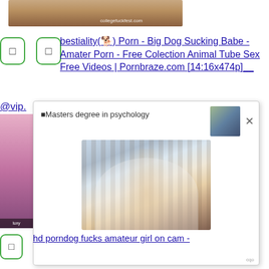[Figure (screenshot): Top partial image with collegefuckfest.com watermark]
bestiality(🐕) Porn - Big Dog Sucking Babe - Amater Porn - Free Colection Animal Tube Sex Free Videos | Pornbraze.com [14:16x474p]
@vip.
[Figure (screenshot): Popup overlay showing 'Masters degree in psychology' with photo of woman in graduation cap in a library]
hd porndog fucks amateur girl on cam -